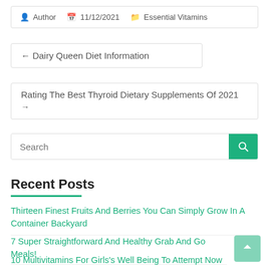Author  11/12/2021  Essential Vitamins
← Dairy Queen Diet Information
Rating The Best Thyroid Dietary Supplements Of 2021 →
Search
Recent Posts
Thirteen Finest Fruits And Berries You Can Simply Grow In A Container Backyard
7 Super Straightforward And Healthy Grab And Go Meals!
10 Multivitamins For Girls's Well Being To Attempt Now